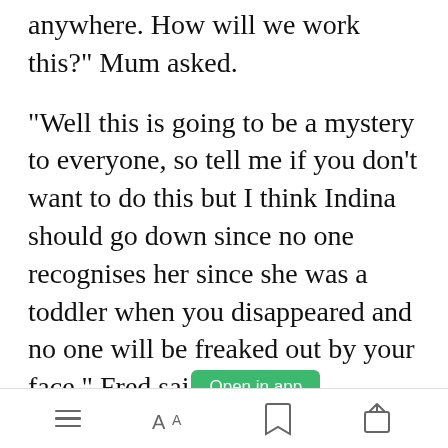anywhere. How will we work this?" Mum asked.
"Well this is going to be a mystery to everyone, so tell me if you don't want to do this but I think Indina should go down since no one recognises her since she was a toddler when you disappeared and no one will be freaked out by your face." Fred sai[Open in app]
[menu icon] [font size icon] [bookmark icon] [share icon]